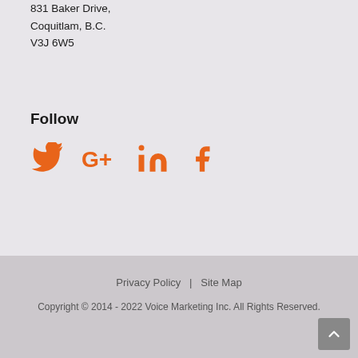831 Baker Drive,
Coquitlam, B.C.
V3J 6W5
Follow
[Figure (other): Social media icons: Twitter, Google+, LinkedIn, Facebook in orange]
Privacy Policy  |  Site Map
Copyright © 2014 - 2022 Voice Marketing Inc. All Rights Reserved.